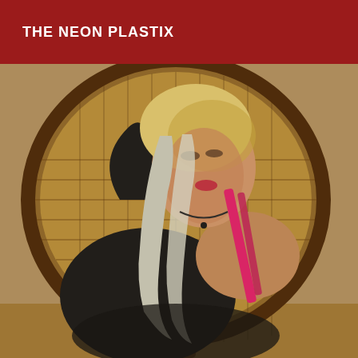THE NEON PLASTIX
[Figure (photo): A woman with blonde/gray streaked hair wearing a black top and pink straps, seated in a large round wicker peacock chair, posed with her hand behind her head, looking upward.]